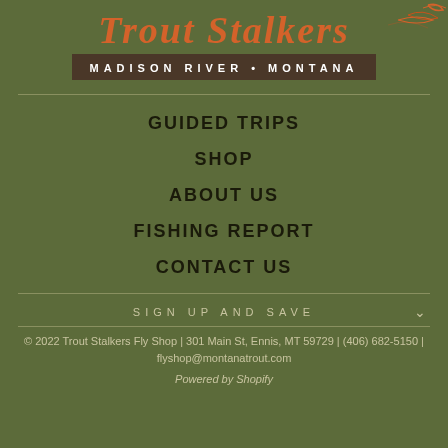[Figure (logo): Trout Stalkers logo with orange italic text 'Trout Stalkers' and dark brown bar reading 'MADISON RIVER • MONTANA' in white spaced capitals, with fish/fly decoration in upper right]
GUIDED TRIPS
SHOP
ABOUT US
FISHING REPORT
CONTACT US
SIGN UP AND SAVE
© 2022 Trout Stalkers Fly Shop | 301 Main St, Ennis, MT 59729 | (406) 682-5150 | flyshop@montanatrout.com
Powered by Shopify